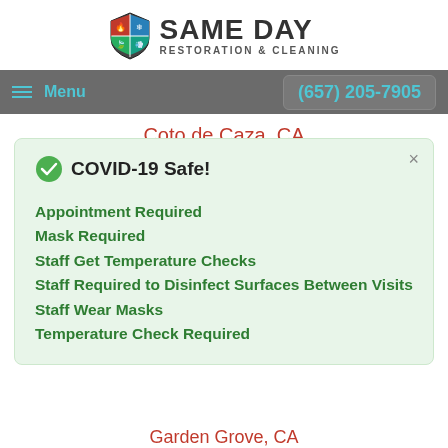[Figure (logo): Same Day Restoration & Cleaning logo with shield icon]
Menu  (657) 205-7905
Coto de Caza, CA
Cowan Heights, CA
Cypress, CA
Dana Point, CA
✔ COVID-19 Safe!
Appointment Required
Mask Required
Staff Get Temperature Checks
Staff Required to Disinfect Surfaces Between Visits
Staff Wear Masks
Temperature Check Required
Garden Grove, CA